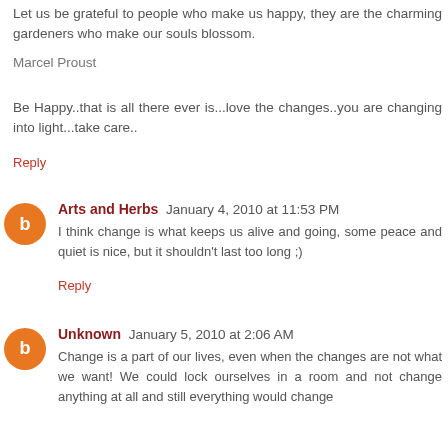Let us be grateful to people who make us happy, they are the charming gardeners who make our souls blossom.
Marcel Proust
Be Happy..that is all there ever is...love the changes..you are changing into light...take care..
Reply
Arts and Herbs  January 4, 2010 at 11:53 PM
I think change is what keeps us alive and going, some peace and quiet is nice, but it shouldn't last too long ;)
Reply
Unknown  January 5, 2010 at 2:06 AM
Change is a part of our lives, even when the changes are not what we want! We could lock ourselves in a room and not change anything at all and still everything would change